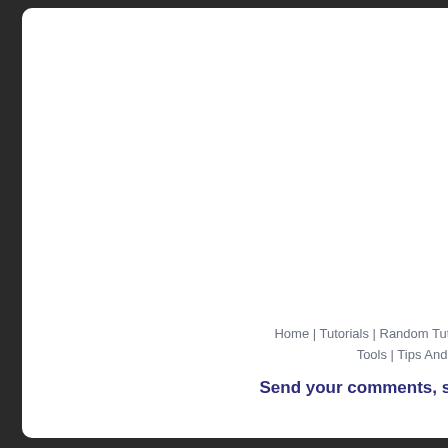Home | Tutorials | Random Tutorials | Tools | Tips And Tricks
Send your comments, sug
Co